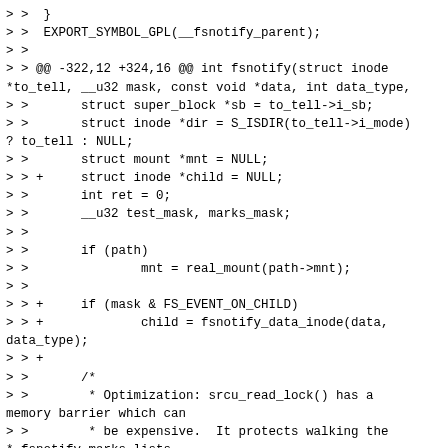> >  }
> >  EXPORT_SYMBOL_GPL(__fsnotify_parent);
> >
> > @@ -322,12 +324,16 @@ int fsnotify(struct inode *to_tell, __u32 mask, const void *data, int data_type,
> >       struct super_block *sb = to_tell->i_sb;
> >       struct inode *dir = S_ISDIR(to_tell->i_mode) ? to_tell : NULL;
> >       struct mount *mnt = NULL;
> > +     struct inode *child = NULL;
> >       int ret = 0;
> >       __u32 test_mask, marks_mask;
> >
> >       if (path)
> >               mnt = real_mount(path->mnt);
> >
> > +     if (mask & FS_EVENT_ON_CHILD)
> > +             child = fsnotify_data_inode(data, data_type);
> > +
> >       /*
> >        * Optimization: srcu_read_lock() has a memory barrier which can
> >        * be expensive.  It protects walking the *_fsnotify_marks lists.
> > @@ -336,21 +342,23 @@ int fsnotify(struct inode *to_tell, __u32 mask, const void *data, int data_type,
> >        * need SRCU to keep them "alive".
> >        */
> >       if (!to_tell->i_fsnotify_marks && !sb-